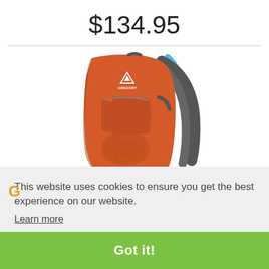$134.95
[Figure (photo): Orange Gregory hydration backpack with blue hydration tube and gray straps on white background]
This website uses cookies to ensure you get the best experience on our website.
Learn more
Got it!